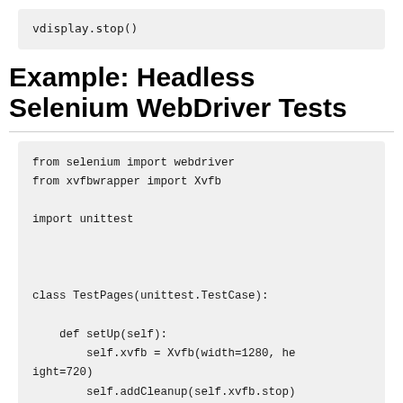vdisplay.stop()
Example: Headless Selenium WebDriver Tests
from selenium import webdriver
from xvfbwrapper import Xvfb

import unittest


class TestPages(unittest.TestCase):

    def setUp(self):
        self.xvfb = Xvfb(width=1280, height=720)
        self.addCleanup(self.xvfb.stop)
        self.xvfb.start()
        self.browser = webdriver.Firefo